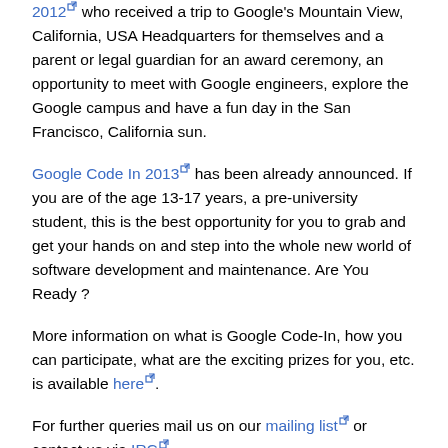2012 who received a trip to Google's Mountain View, California, USA Headquarters for themselves and a parent or legal guardian for an award ceremony, an opportunity to meet with Google engineers, explore the Google campus and have a fun day in the San Francisco, California sun.
Google Code In 2013 has been already announced. If you are of the age 13-17 years, a pre-university student, this is the best opportunity for you to grab and get your hands on and step into the whole new world of software development and maintenance. Are You Ready ?
More information on what is Google Code-In, how you can participate, what are the exciting prizes for you, etc. is available here.
For further queries mail us on our mailing list or contact us via IRC
BRL-CAD Release 7.24.0